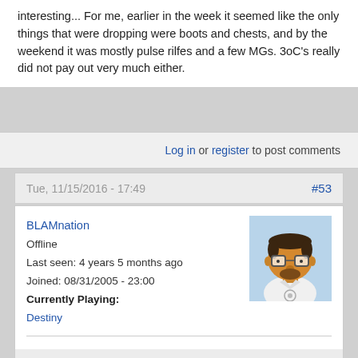interesting... For me, earlier in the week it seemed like the only things that were dropping were boots and chests, and by the weekend it was mostly pulse rilfes and a few MGs. 3oC's really did not pay out very much either.
Log in or register to post comments
Tue, 11/15/2016 - 17:49   #53
BLAMnation
Offline
Last seen: 4 years 5 months ago
Joined: 08/31/2005 - 23:00
Currently Playing:
Destiny
One of my Clever Dragon drops has Perfect Balance, High Caliber Rounds, and Counterbalance. Gonna run it for a while - maybe I can fend off all the other CDs that have been shredding me the last few days.